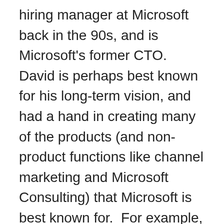hiring manager at Microsoft back in the 90s, and is Microsoft's former CTO. David is perhaps best known for his long-term vision, and had a hand in creating many of the products (and non-product functions like channel marketing and Microsoft Consulting) that Microsoft is best known for.  For example, it was David's vision for Microsoft to enter the enterprise server market and turn SQL Server (which at the time was a departmental-level targeted port of Sybase) into a Microsoft developed Enterprise-grade database. David put the strategy in place, hired the team leaders, negotiated the deal to split from Sybase, set many of the key requirements, and contributed to the overall design of what became SQL Server 7.0.  Mehtap Ozkan is our third founder. Mehtap brings product and technical judgement, and lots of startup experience, to our team. Soon David, Mehtap, and I were in conversations